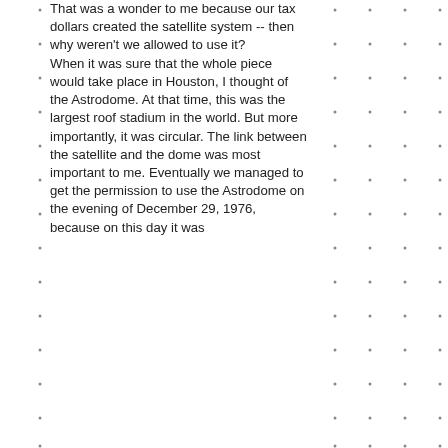That was a wonder to me because our tax dollars created the satellite system -- then why weren't we allowed to use it? When it was sure that the whole piece would take place in Houston, I thought of the Astrodome. At that time, this was the largest roof stadium in the world. But more importantly, it was circular. The link between the satellite and the dome was most important to me. Eventually we managed to get the permission to use the Astrodome on the evening of December 29, 1976, because on this day it was